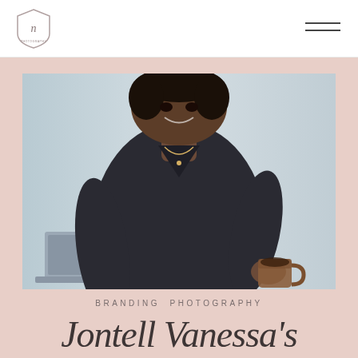[Figure (photo): Woman in black long-sleeve dress holding a coffee mug, smiling, with a laptop visible at lower left. Light blue-grey background.]
BRANDING PHOTOGRAPHY
Jontell Vanessa's